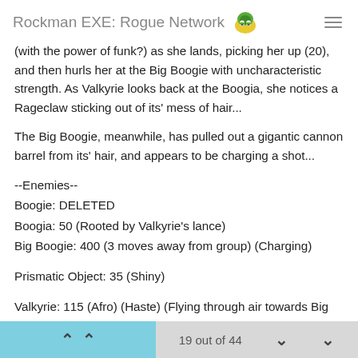Rockman EXE: Rogue Network
(with the power of funk?) as she lands, picking her up (20), and then hurls her at the Big Boogie with uncharacteristic strength. As Valkyrie looks back at the Boogia, she notices a Rageclaw sticking out of its' mess of hair...
The Big Boogie, meanwhile, has pulled out a gigantic cannon barrel from its' hair, and appears to be charging a shot...
--Enemies--
Boogie: DELETED
Boogia: 50 (Rooted by Valkyrie's lance)
Big Boogie: 400 (3 moves away from group) (Charging)

Prismatic Object: 35 (Shiny)

Valkyrie: 115 (Afro) (Haste) (Flying through air towards Big Boogie) (Buster disabled: Lance stuck in Boogia)
19 out of 44